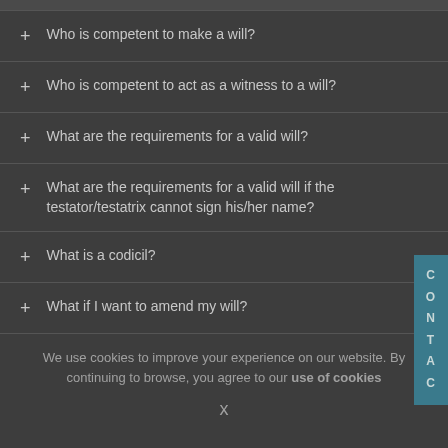+ Who is competent to make a will?
+ Who is competent to act as a witness to a will?
+ What are the requirements for a valid will?
+ What are the requirements for a valid will if the testator/testatrix cannot sign his/her name?
+ What is a codicil?
+ What if I want to amend my will?
We use cookies to improve your experience on our website. By continuing to browse, you agree to our use of cookies
x